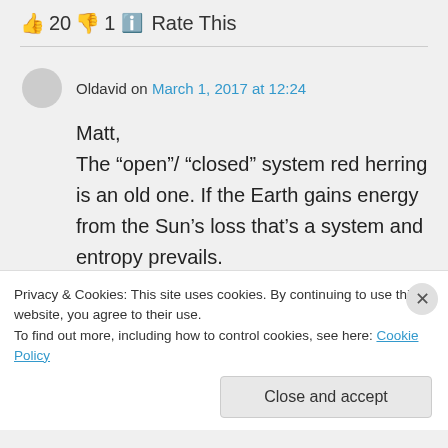👍 20 👎 1 ℹ️ Rate This
Oldavid on March 1, 2017 at 12:24
Matt,
The “open”/ “closed” system red herring is an old one. If the Earth gains energy from the Sun’s loss that’s a system and entropy prevails.
Privacy & Cookies: This site uses cookies. By continuing to use this website, you agree to their use.
To find out more, including how to control cookies, see here: Cookie Policy
Close and accept